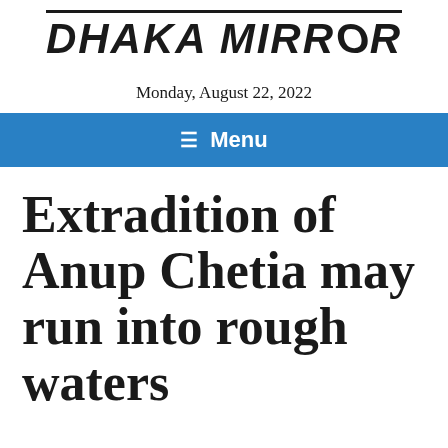DHAKA MIRROR
Monday, August 22, 2022
≡ Menu
Extradition of Anup Chetia may run into rough waters